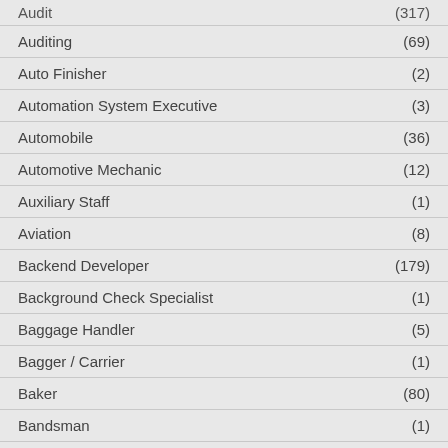| Job Category | Count |
| --- | --- |
| Audit | (317) |
| Auditing | (69) |
| Auto Finisher | (2) |
| Automation System Executive | (3) |
| Automobile | (36) |
| Automotive Mechanic | (12) |
| Auxiliary Staff | (1) |
| Aviation | (8) |
| Backend Developer | (179) |
| Background Check Specialist | (1) |
| Baggage Handler | (5) |
| Bagger / Carrier | (1) |
| Baker | (80) |
| Bandsman | (1) |
| Banking | (1,514) |